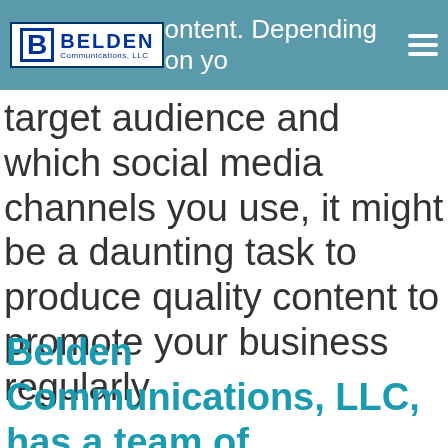content. Depending on your
target audience and which social media channels you use, it might be a daunting task to produce quality content to promote your business regularly.
Belden Communications, LLC, has a team of knowledgeable and skilled content creators that dedicate their